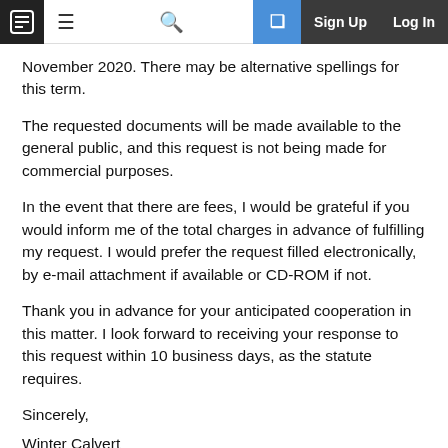Navigation bar with logo, hamburger menu, search, new tab, Sign Up, Log In
November 2020. There may be alternative spellings for this term.
The requested documents will be made available to the general public, and this request is not being made for commercial purposes.
In the event that there are fees, I would be grateful if you would inform me of the total charges in advance of fulfilling my request. I would prefer the request filled electronically, by e-mail attachment if available or CD-ROM if not.
Thank you in advance for your anticipated cooperation in this matter. I look forward to receiving your response to this request within 10 business days, as the statute requires.
Sincerely,
Winter Calvert